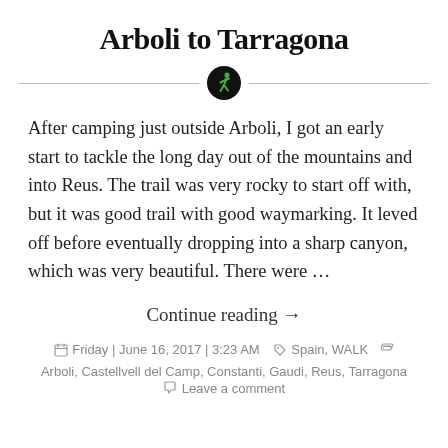Arboli to Tarragona
[Figure (illustration): Green walking person icon in a black circle, centered on a horizontal divider line]
After camping just outside Arboli, I got an early start to tackle the long day out of the mountains and into Reus. The trail was very rocky to start off with, but it was good trail with good waymarking. It leved off before eventually dropping into a sharp canyon, which was very beautiful. There were …
Continue reading →
Friday | June 16, 2017 | 3:23 AM    Spain, WALK    Arboli, Castellvell del Camp, Constanti, Gaudi, Reus, Tarragona
Leave a comment